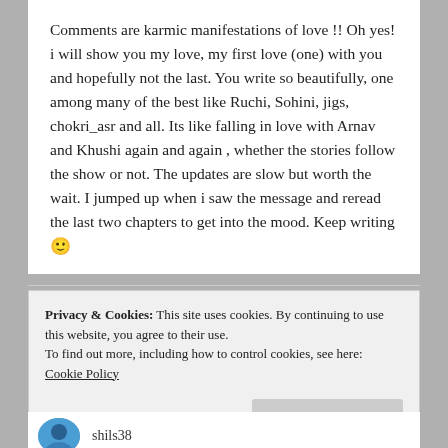Comments are karmic manifestations of love !! Oh yes! i will show you my love, my first love (one) with you and hopefully not the last. You write so beautifully, one among many of the best like Ruchi, Sohini, jigs, chokri_asr and all. Its like falling in love with Arnav and Khushi again and again , whether the stories follow the show or not. The updates are slow but worth the wait. I jumped up when i saw the message and reread the last two chapters to get into the mood. Keep writing 🙂
Privacy & Cookies: This site uses cookies. By continuing to use this website, you agree to their use.
To find out more, including how to control cookies, see here: Cookie Policy
Close and accept
shils38